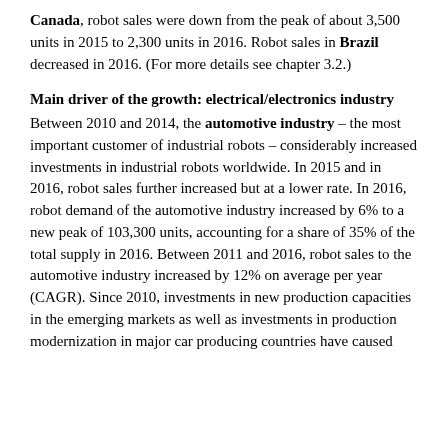Canada, robot sales were down from the peak of about 3,500 units in 2015 to 2,300 units in 2016. Robot sales in Brazil decreased in 2016. (For more details see chapter 3.2.)
Main driver of the growth: electrical/electronics industry
Between 2010 and 2014, the automotive industry – the most important customer of industrial robots – considerably increased investments in industrial robots worldwide. In 2015 and in 2016, robot sales further increased but at a lower rate. In 2016, robot demand of the automotive industry increased by 6% to a new peak of 103,300 units, accounting for a share of 35% of the total supply in 2016. Between 2011 and 2016, robot sales to the automotive industry increased by 12% on average per year (CAGR). Since 2010, investments in new production capacities in the emerging markets as well as investments in production modernization in major car producing countries have caused the number of robot installations to rise. In investment rich...